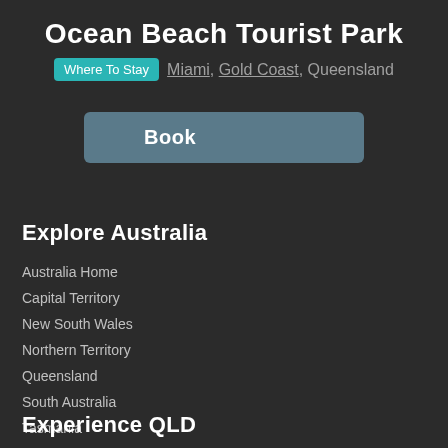Ocean Beach Tourist Park
Where To Stay  Miami, Gold Coast, Queensland
Book
Explore Australia
Australia Home
Capital Territory
New South Wales
Northern Territory
Queensland
South Australia
Tasmania
Victoria
Western Australia
Experience QLD